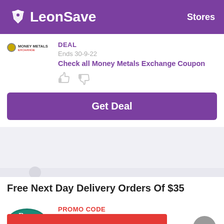LeonSave  Stores
DEAL
Ends 30-9-22
Check all Money Metals Exchange Coupon
Get Deal
Free Next Day Delivery Orders Of $35
PROMO CODE
Ends 12-10-22
Check all Baar Coupon >